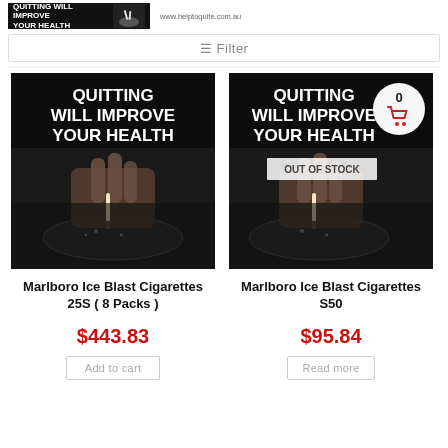[Figure (screenshot): Banner image showing cigarette ashtray with text QUITTING WILL IMPROVE YOUR HEALTH on black background]
www.helptoquite.com.au
≡ Filter
[Figure (photo): Product photo: QUITTING WILL IMPROVE YOUR HEALTH anti-smoking image with hand stubbing cigarette in ashtray]
[Figure (photo): Product photo: QUITTING WILL IMPROVE YOUR HEALTH anti-smoking image with OUT OF STOCK overlay and cart icon badge showing 0]
Marlboro Ice Blast Cigarettes 25S ( 8 Packs )
Marlboro Ice Blast Cigarettes S50
$443.83
$95.84
Add to cart
Read more